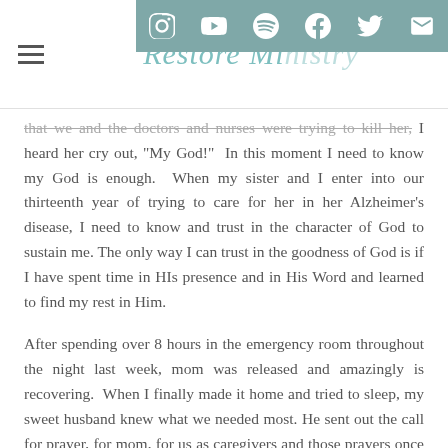Restore Ministry (logo/title) with social media icons: Instagram, YouTube, Spotify, Facebook, Twitter, Email
that we and the doctors and nurses were trying to kill her, I heard her cry out, "My God!" In this moment I need to know my God is enough. When my sister and I enter into our thirteenth year of trying to care for her in her Alzheimer's disease, I need to know and trust in the character of God to sustain me. The only way I can trust in the goodness of God is if I have spent time in HIs presence and in His Word and learned to find my rest in Him.
After spending over 8 hours in the emergency room throughout the night last week, mom was released and amazingly is recovering. When I finally made it home and tried to sleep, my sweet husband knew what we needed most. He sent out the call for prayer, for mom, for us as caregivers and those prayers once again carried us.
When I woke, I was so grateful to see the calls and texts from friends covering us once again. Oh, how we need a community